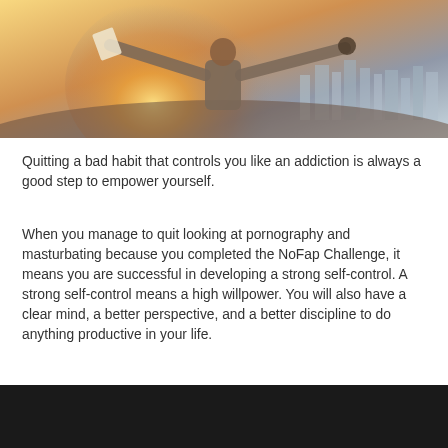[Figure (photo): Photo of a person seen from behind with arms spread wide in a triumphant pose, holding something in one hand, against a warm golden backlit sky with a cityscape in the background.]
Quitting a bad habit that controls you like an addiction is always a good step to empower yourself.
When you manage to quit looking at pornography and masturbating because you completed the NoFap Challenge, it means you are successful in developing a strong self-control. A strong self-control means a high willpower. You will also have a clear mind, a better perspective, and a better discipline to do anything productive in your life.
[Figure (photo): Dark/black image, partially visible at the bottom of the page.]